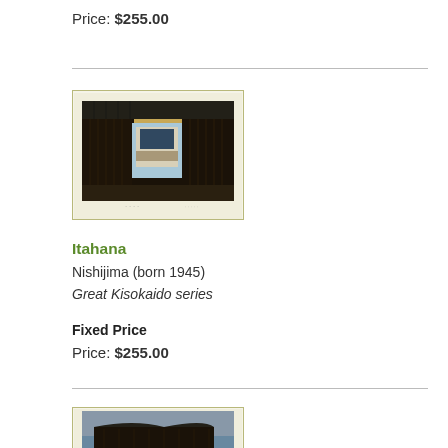Price: $255.00
[Figure (photo): Japanese woodblock print showing a dark wooden gate/building facade with slanted roof tiles, a glimpse of blue sky through the gate, and text below the image. Image has cream/off-white border.]
Itahana
Nishijima (born 1945)
Great Kisokaido series
Fixed Price
Price: $255.00
[Figure (photo): Japanese woodblock print showing a dark-roofed traditional building against a blue-grey sky, partially visible at bottom of page.]